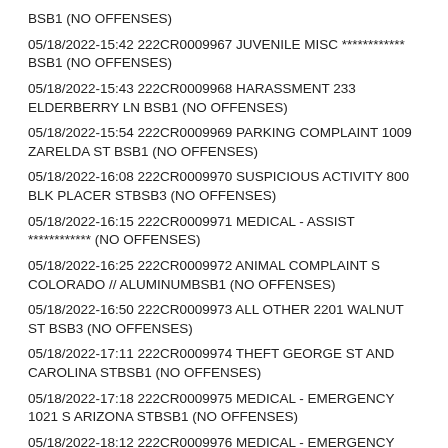BSB1 (NO OFFENSES)
05/18/2022-15:42 222CR0009967 JUVENILE MISC ************ BSB1 (NO OFFENSES)
05/18/2022-15:43 222CR0009968 HARASSMENT 233 ELDERBERRY LN BSB1 (NO OFFENSES)
05/18/2022-15:54 222CR0009969 PARKING COMPLAINT 1009 ZARELDA ST BSB1 (NO OFFENSES)
05/18/2022-16:08 222CR0009970 SUSPICIOUS ACTIVITY 800 BLK PLACER STBSB3 (NO OFFENSES)
05/18/2022-16:15 222CR0009971 MEDICAL - ASSIST ************ (NO OFFENSES)
05/18/2022-16:25 222CR0009972 ANIMAL COMPLAINT S COLORADO // ALUMINUMBSB1 (NO OFFENSES)
05/18/2022-16:50 222CR0009973 ALL OTHER 2201 WALNUT ST BSB3 (NO OFFENSES)
05/18/2022-17:11 222CR0009974 THEFT GEORGE ST AND CAROLINA STBSB1 (NO OFFENSES)
05/18/2022-17:18 222CR0009975 MEDICAL - EMERGENCY 1021 S ARIZONA STBSB1 (NO OFFENSES)
05/18/2022-18:12 222CR0009976 MEDICAL - EMERGENCY 1822